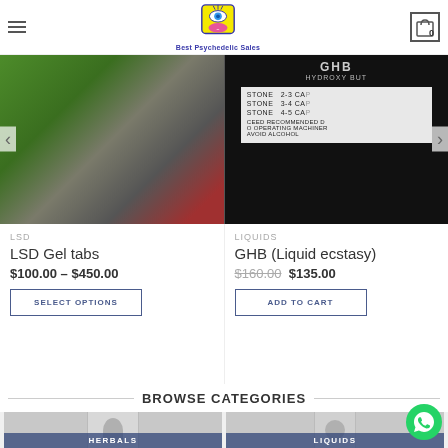Best Psychedelic Sales
[Figure (photo): LSD gel tabs product photo - green and grey textured surface]
[Figure (photo): GHB Liquid ecstasy product photo - bottle label showing dosage info]
LSD
LSD Gel tabs
$100.00 – $450.00
SELECT OPTIONS
LIQUIDS
GHB (Liquid ecstasy)
$160.00  $135.00
ADD TO CART
BROWSE CATEGORIES
[Figure (photo): Herbals category image]
[Figure (photo): Liquids category image]